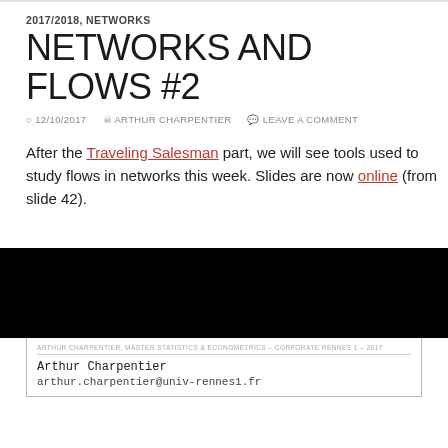2017/2018, NETWORKS
NETWORKS AND FLOWS #2
12/10/2017  ARTHUR CHARPENTIER  LEAVE A COMMENT
After the Traveling Salesman part, we will see tools used to study flows in networks this week. Slides are now online (from slide 42).
[Figure (screenshot): Black slide image from a presentation, with lower white section showing author name Arthur Charpentier and email arthur.charpentier@univ-rennes1.fr]